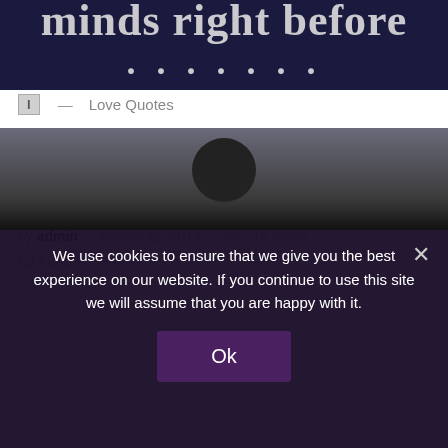[Figure (photo): Dark navy blue banner with white serif text partially visible: 'minds right before' and partial letters below]
l — Love Quotes
Love People From A Distance
by admin · August 12, 2014 · 715 views · No comments
[Figure (photo): Partially visible photo with dark silhouette figure against cloudy sky background]
We use cookies to ensure that we give you the best experience on our website. If you continue to use this site we will assume that you are happy with it.